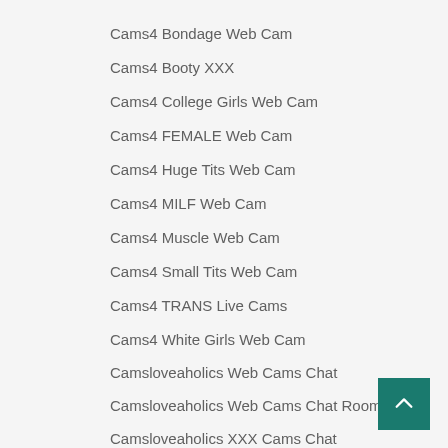Cams4 Bondage Web Cam
Cams4 Booty XXX
Cams4 College Girls Web Cam
Cams4 FEMALE Web Cam
Cams4 Huge Tits Web Cam
Cams4 MILF Web Cam
Cams4 Muscle Web Cam
Cams4 Small Tits Web Cam
Cams4 TRANS Live Cams
Cams4 White Girls Web Cam
Camsloveaholics Web Cams Chat
Camsloveaholics Web Cams Chat Room
Camsloveaholics XXX Cams Chat